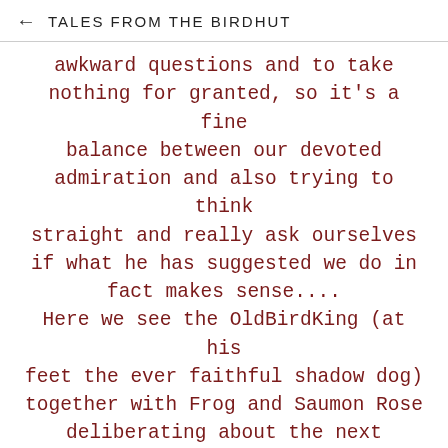TALES FROM THE BIRDHUT
awkward questions and to take nothing for granted, so it's a fine balance between our devoted admiration and also trying to think straight and really ask ourselves if what he has suggested we do in fact makes sense.... Here we see the OldBirdKing (at his feet the ever faithful shadow dog) together with Frog and Saumon Rose deliberating about the next construction whilst nibbling from the alder cones found fresh in the